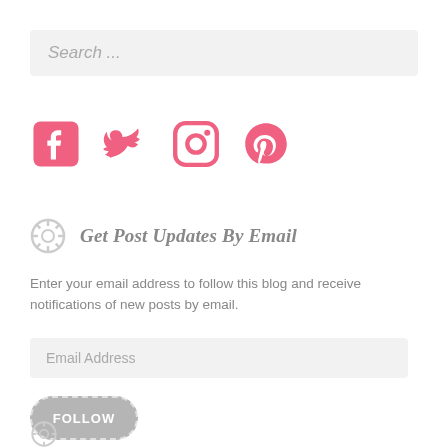Search ...
[Figure (illustration): Social media icons: Facebook, Twitter, Instagram, Pinterest in pink/coral color]
Get Post Updates By Email
Enter your email address to follow this blog and receive notifications of new posts by email.
Email Address
FOLLOW